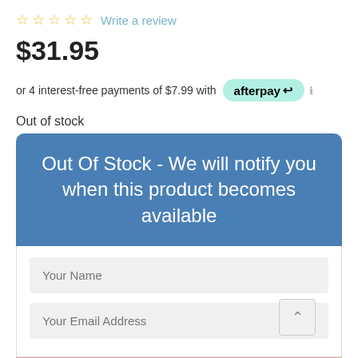☆ ☆ ☆ ☆ ☆ Write a review
$31.95
or 4 interest-free payments of $7.99 with afterpay ℹ
Out of stock
[Figure (screenshot): Blue banner with white text reading: Out Of Stock - We will notify you when this product becomes available]
Your Name
Your Email Address